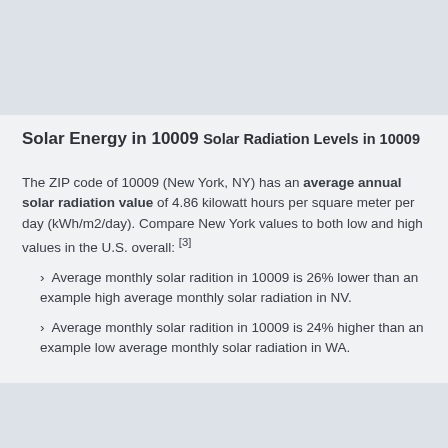Solar Energy in 10009
Solar Radiation Levels in 10009
The ZIP code of 10009 (New York, NY) has an average annual solar radiation value of 4.86 kilowatt hours per square meter per day (kWh/m2/day). Compare New York values to both low and high values in the U.S. overall: [3]
Average monthly solar radition in 10009 is 26% lower than an example high average monthly solar radiation in NV.
Average monthly solar radition in 10009 is 24% higher than an example low average monthly solar radiation in WA.